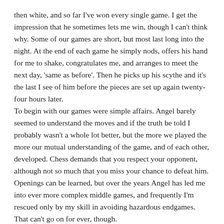then white, and so far I've won every single game. I get the impression that he sometimes lets me win, though I can't think why. Some of our games are short, but most last long into the night. At the end of each game he simply nods, offers his hand for me to shake, congratulates me, and arranges to meet the next day, 'same as before'. Then he picks up his scythe and it's the last I see of him before the pieces are set up again twenty-four hours later.
To begin with our games were simple affairs. Angel barely seemed to understand the moves and if the truth be told I probably wasn't a whole lot better, but the more we played the more our mutual understanding of the game, and of each other, developed. Chess demands that you respect your opponent, although not so much that you miss your chance to defeat him. Openings can be learned, but over the years Angel has led me into ever more complex middle games, and frequently I'm rescued only by my skill in avoiding hazardous endgames. That can't go on for ever, though.
One day that middle game will lead to an irresolvable endgame. One day for sure, Angel will trap me and suddenly I'll feel my unbeaten